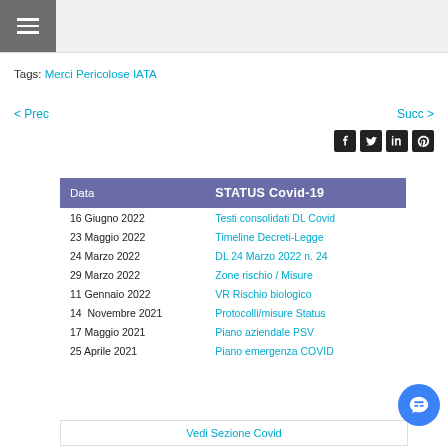≡ (hamburger menu)
Tags: Merci Pericolose IATA
< Prec
Succ >
| Data | STATUS Covid-19 |
| --- | --- |
| 16 Giugno 2022 | Testi consolidati DL Covid |
| 23 Maggio 2022 | Timeline Decreti-Legge |
| 24 Marzo 2022 | DL 24 Marzo 2022 n. 24 |
| 29 Marzo 2022 | Zone rischio / Misure |
| 11 Gennaio 2022 | VR Rischio biologico |
| 14  Novembre 2021 | Protocolli/misure Status |
| 17 Maggio 2021 | Piano aziendale PSV |
| 25 Aprile 2021 | Piano emergenza COVID |
Vedi Sezione Covid